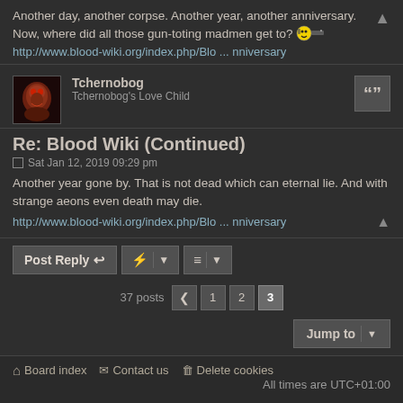Another day, another corpse. Another year, another anniversary. Now, where did all those gun-toting madmen get to? http://www.blood-wiki.org/index.php/Blo ... nniversary
Tchernobog
Tchernobog's Love Child
Re: Blood Wiki (Continued)
Sat Jan 12, 2019 09:29 pm
Another year gone by. That is not dead which can eternal lie. And with strange aeons even death may die.
http://www.blood-wiki.org/index.php/Blo ... nniversary
Post Reply | Tool | Sort | 37 posts 1 2 3 | Jump to
Board index | Contact us | Delete cookies | All times are UTC+01:00
Powered by phpBB® Forum Software © phpBB Limited
Style by Arty - phpBB 3.3 by MrGaby
Privacy | Terms